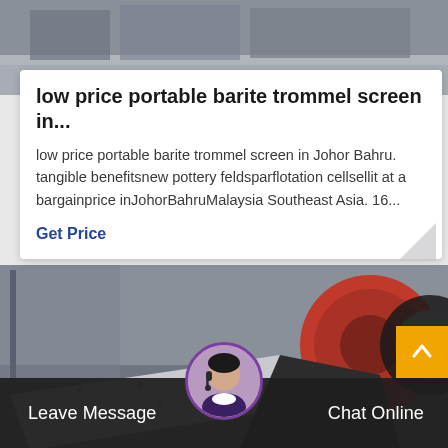[Figure (photo): Industrial machinery photo at top of page, grayscale tones]
low price portable barite trommel screen in...
low price portable barite trommel screen in Johor Bahru. tangible benefitsnew pottery feldsparflotation cellsellit at a bargainprice inJohorBahruMalaysia Southeast Asia. 16...
Get Price
[Figure (photo): Industrial trommel screen or ball mill equipment photo, red and black cylindrical machine]
Leave Message  Chat Online